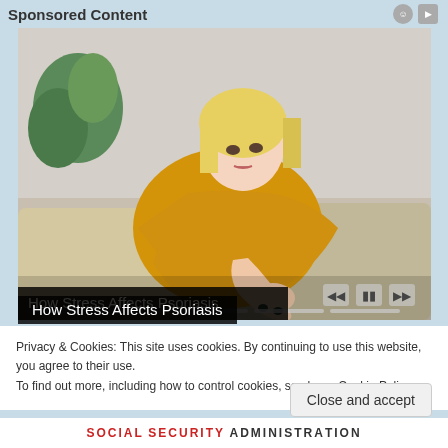Sponsored Content
[Figure (photo): A blonde woman in a yellow knit sweater sitting on a couch looking at her arm/elbow, appearing to examine or scratch it, with video playback controls overlaid at bottom right and a progress bar along the bottom of the image.]
How Stress Affects Psoriasis
Privacy & Cookies: This site uses cookies. By continuing to use this website, you agree to their use.
To find out more, including how to control cookies, see here: Cookie Policy
Close and accept
SOCIAL SECURITY ADMINISTRATION